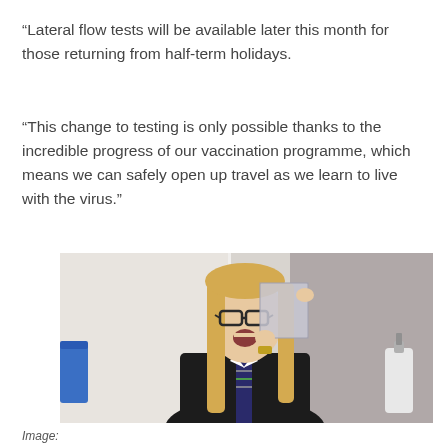“Lateral flow tests will be available later this month for those returning from half-term holidays.
“This change to testing is only possible thanks to the incredible progress of our vaccination programme, which means we can safely open up travel as we learn to live with the virus.”
[Figure (photo): A young female student with long blonde hair and glasses, wearing a school uniform with a striped tie, holding up a lateral flow test with her mouth open, in a clinical/school setting. A blue container and hand sanitizer bottle are visible in the background.]
Image: